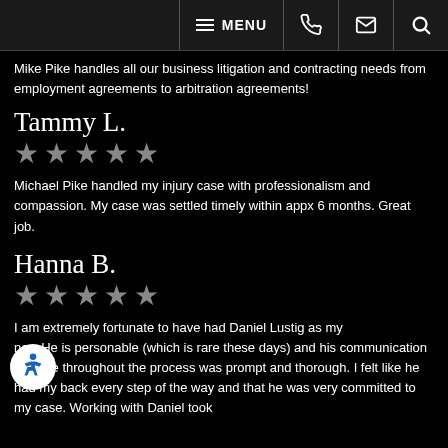MENU [navigation bar with phone, email, search icons]
Mike Pike handles all our business litigation and contracting needs from employment agreements to arbitration agreements!
Tammy L.
[Figure (other): Five grey stars rating]
Michael Pike handled my injury case with professionalism and compassion. My case was settled timely within appx 6 months. Great job.
Hanna B.
[Figure (other): Five grey stars rating]
I am extremely fortunate to have had Daniel Lustig as my [attor]ney. He is personable (which is rare these days) and his communication with me throughout the process was prompt and thorough. I felt like he had my back every step of the way and that he was very committed to my case. Working with Daniel took